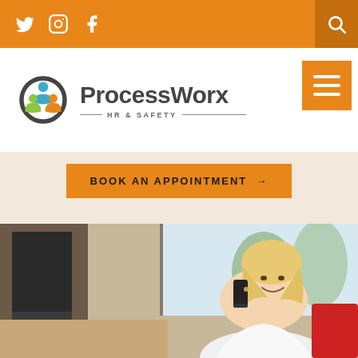Social media icons (Twitter, Instagram, Facebook) and search icon on orange bar
[Figure (logo): ProcessWorx HR & Safety logo with people icons and company name]
BOOK AN APPOINTMENT →
[Figure (photo): Woman with blonde hair sitting at office desk, smiling and talking on phone, wearing white blouse, red chair, window with trees in background]